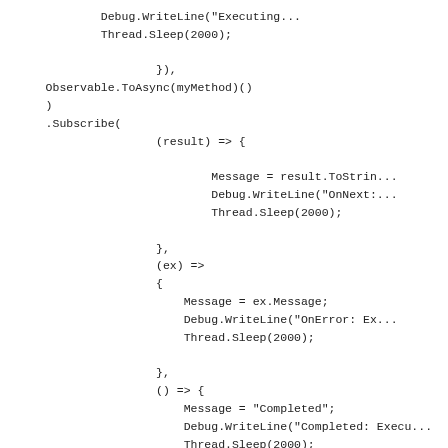Debug.WriteLine("Executing...
            Thread.Sleep(2000);

                    }),
    Observable.ToAsync(myMethod)()
    )
    .Subscribe(
                    (result) => {

                            Message = result.ToString...
                            Debug.WriteLine("OnNext:...
                            Thread.Sleep(2000);

                    },
                    (ex) =>
                    {
                        Message = ex.Message;
                        Debug.WriteLine("OnError: Exe...
                        Thread.Sleep(2000);

                    },
                    () => {
                        Message = "Completed";
                        Debug.WriteLine("Completed: Execu...
                        Thread.Sleep(2000);
                    });
Observable.ForkJoin and Exception Handling:
If any of the IObservable results in an exception the no OnNext message is generated from the resulting...